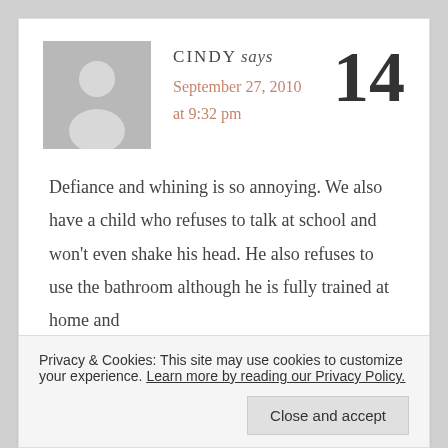[Figure (illustration): Generic grey avatar placeholder image showing a silhouetted person]
CINDY says
September 27, 2010 at 9:32 pm
14
Defiance and whining is so annoying. We also have a child who refuses to talk at school and won't even shake his head. He also refuses to use the bathroom although he is fully trained at home and
Privacy & Cookies: This site may use cookies to customize your experience. Learn more by reading our Privacy Policy.
Close and accept
him!